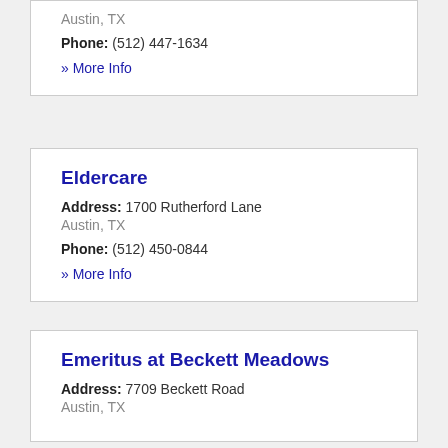Austin, TX
Phone: (512) 447-1634
» More Info
Eldercare
Address: 1700 Rutherford Lane Austin, TX
Phone: (512) 450-0844
» More Info
Emeritus at Beckett Meadows
Address: 7709 Beckett Road Austin, TX